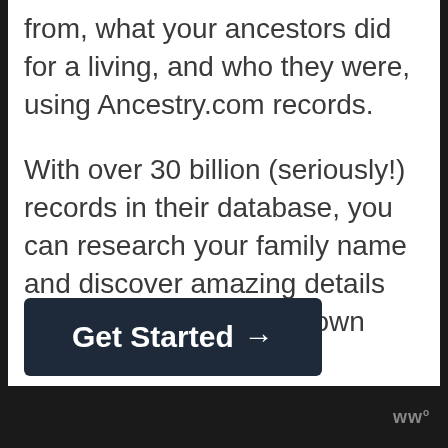from, what your ancestors did for a living, and who they were, using Ancestry.com records.
With over 30 billion (seriously!) records in their database, you can research your family name and discover amazing details you may never have known about your ancestors.
With a 14-day free trial, it's very easy to get started and discover your past!
[Figure (other): Dark navy button with white bold text reading 'Get Started →']
ww°